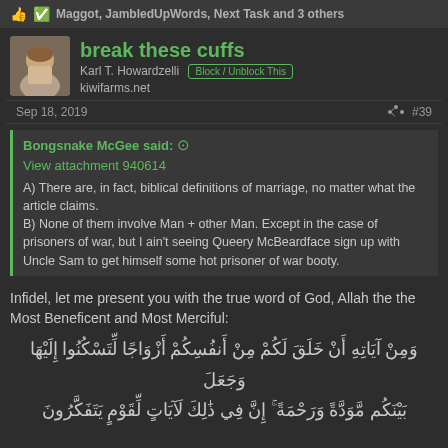Maggot, JambledUpWords, Next Task and 3 others
break these cuffs
Karl T. Howardzelli
kiwifarms.net
Sep 18, 2019   #39
Bongsnake McGee said:
View attachment 940614
A) There are, in fact, biblical definitions of marriage, no matter what the article claims.
B) None of them involve Man + other Man. Except in the case of prisoners of war, but I ain't seeing Queery McBeardface sign up with Uncle Sam to get himself some hot prisoner of war booty.
Infidel, let me present you with the true word of God, Allah the the Most Beneficent and Most Merciful:
وَمِنْ آيَاتِهِ أَنْ خَلَقَ لَكُمْ مِنْ أَنْفُسِكُمْ أَزْوَاجًا لِتَسْكُنُوا إِلَيْهَا وَجَعَلَ بَيْنَكُمْ مَوَدَّةً وَرَحْمَةً ۚ إِنَّ فِي ذَٰلِكَ لَآيَاتٍ لِقَوْمٍ يَتَفَكَّرُونَ